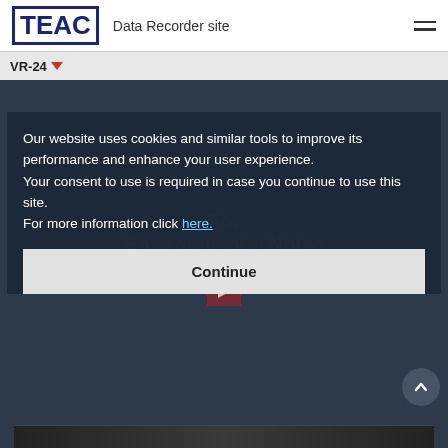TEAC  Data Recorder site
VR-24
[Figure (screenshot): Railway tracks viewed from above with a red play button overlay, TEAC VR-24 product video thumbnail]
Our website uses cookies and similar tools to improve its performance and enhance your user experience.
Your consent to use is required in case you continue to use this site.
For more information click here.
Continue